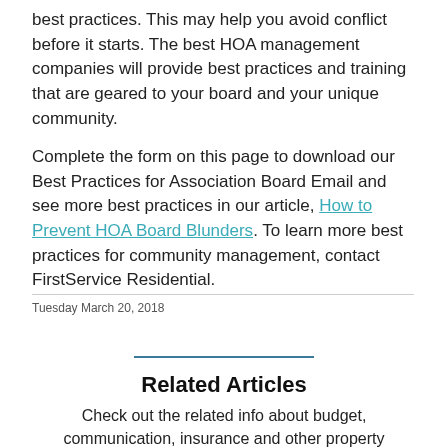best practices. This may help you avoid conflict before it starts. The best HOA management companies will provide best practices and training that are geared to your board and your unique community.

Complete the form on this page to download our Best Practices for Association Board Email and see more best practices in our article, How to Prevent HOA Board Blunders. To learn more best practices for community management, contact FirstService Residential.
Tuesday March 20, 2018
Related Articles
Check out the related info about budget, communication, insurance and other property management concerns today!